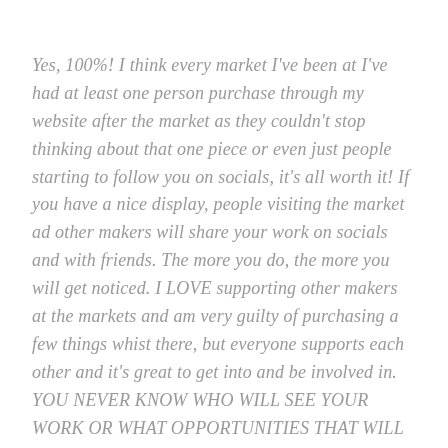Yes, 100%! I think every market I've been at I've had at least one person purchase through my website after the market as they couldn't stop thinking about that one piece or even just people starting to follow you on socials, it's all worth it! If you have a nice display, people visiting the market ad other makers will share your work on socials and with friends. The more you do, the more you will get noticed. I LOVE supporting other makers at the markets and am very guilty of purchasing a few things whist there, but everyone supports each other and it's great to get into and be involved in. YOU NEVER KNOW WHO WILL SEE YOUR WORK OR WHAT OPPORTUNITIES THAT WILL COME TO YOU FROM OR THROUGH THE EVENT!